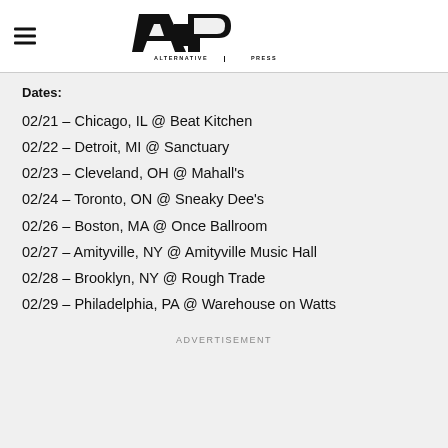Alternative Press logo with hamburger menu
Dates:
02/21 – Chicago, IL @ Beat Kitchen
02/22 – Detroit, MI @ Sanctuary
02/23 – Cleveland, OH @ Mahall's
02/24 – Toronto, ON @ Sneaky Dee's
02/26 – Boston, MA @ Once Ballroom
02/27 – Amityville, NY @ Amityville Music Hall
02/28 – Brooklyn, NY @ Rough Trade
02/29 – Philadelphia, PA @ Warehouse on Watts
ADVERTISEMENT